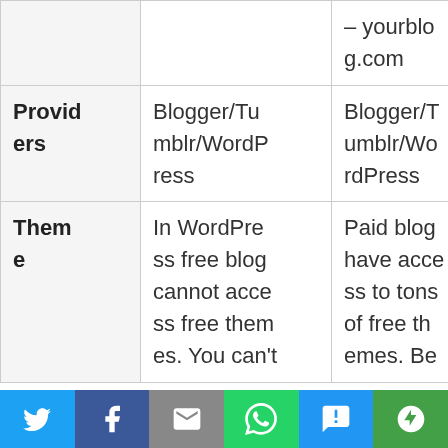|  | Free Blog | Paid Blog |
| --- | --- | --- |
|  | – yourblog.com |  |
| Providers | Blogger/Tumblr/WordPress | Blogger/Tumblr/WordPress |
| Theme | In WordPress free blog cannot access free themes. You can't | Paid blog have access to tons of free themes. Be |